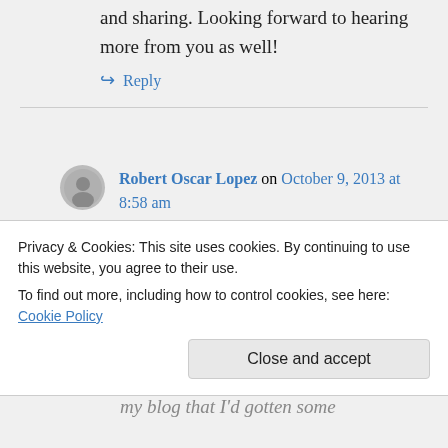and sharing. Looking forward to hearing more from you as well!
↳ Reply
Robert Oscar Lopez on October 9, 2013 at 8:58 am
Thanks for running this amazing site. My mom was a lesbian and in a relationship with the same woman
Privacy & Cookies: This site uses cookies. By continuing to use this website, you agree to their use.
To find out more, including how to control cookies, see here: Cookie Policy
Close and accept
my blog that I'd gotten some